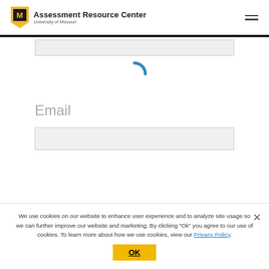Assessment Resource Center — University of Missouri
[Figure (screenshot): Loading spinner — blue partial arc indicating content loading inside a light grey input field area]
Email
[Figure (screenshot): Empty grey input field for email address]
We use cookies on our website to enhance user experience and to analyze site usage so we can further improve our website and marketing. By clicking "Ok" you agree to our use of cookies. To learn more about how we use cookies, view our Privacy Policy.